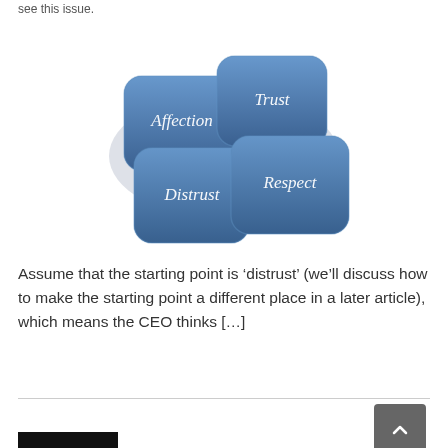see this issue.
[Figure (infographic): Four blue 3D rounded-square tiles arranged in a 2x2 grid with a light gray diamond shadow behind them. The tiles are labeled: top-left 'Affection', top-right 'Trust', bottom-left 'Distrust', bottom-right 'Respect'. Text on tiles is white serif italic font.]
Assume that the starting point is ‘distrust’ (we’ll discuss how to make the starting point a different place in a later article), which means the CEO thinks […]